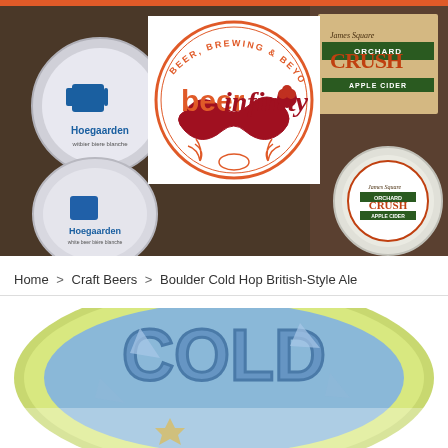[Figure (photo): Header photo of beer tap handles including Hoegaarden and Orchard Crush Apple Cider, with the Beer Infinity logo (Beer, Brewing & Beyond) overlaid in the center on a white background. The logo features circular text and a red infinity symbol with hop graphics.]
Home > Craft Beers > Boulder Cold Hop British-Style Ale
[Figure (photo): Partial product image of Boulder Cold Hop British-Style Ale beer label, showing colorful graffiti-style artwork with blue and yellow tones and the word 'COLD' visible.]